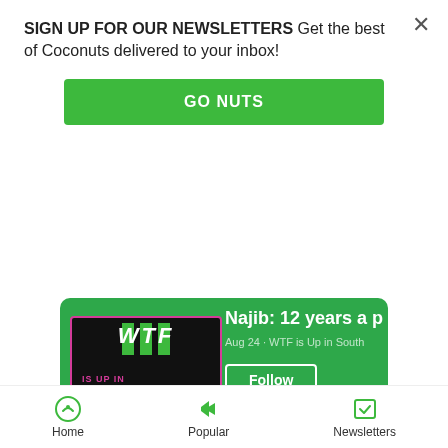SIGN UP FOR OUR NEWSLETTERS Get the best of Coconuts delivered to your inbox!
[Figure (screenshot): Green button labeled GO NUTS]
[Figure (screenshot): Spotify embedded podcast player showing WTF is Up in Southeast Asia + Hong Kong by Coconuts, episode about Najib: 12 years a pr, Aug 24, with Follow button, PREVIEW, E label, dots menu, and play button]
Topics: YANGON, NEWS, ANIMALS
[Figure (infographic): Bottom navigation bar with Home, Popular, and Newsletters icons]